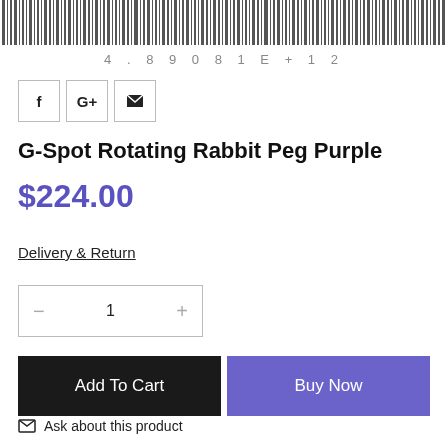[Figure (other): Barcode image at top of product page with number 4.89081E+12]
[Figure (other): Social share buttons: Facebook (f), Google+ (G+), Email (envelope icon)]
G-Spot Rotating Rabbit Peg Purple
$224.00
Delivery & Return
1
Add To Cart
Buy Now
Ask about this product